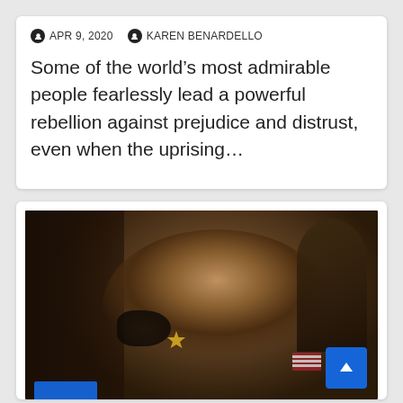APR 9, 2020  KAREN BENARDELLO
Some of the world’s most admirable people fearlessly lead a powerful rebellion against prejudice and distrust, even when the uprising…
[Figure (photo): A law enforcement officer in a tan/khaki uniform with a sheriff's star badge and US flag patch on the shoulder, holding a handgun, photographed in a dark indoor setting. A second person is partially visible in the background on the right.]